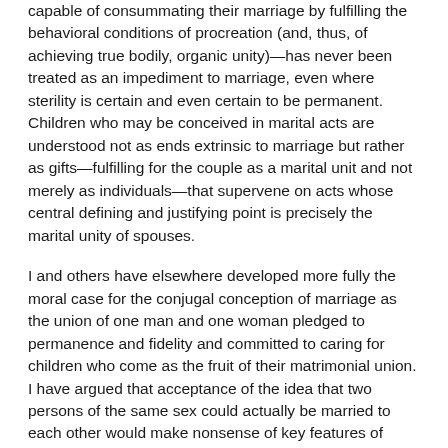capable of consummating their marriage by fulfilling the behavioral conditions of procreation (and, thus, of achieving true bodily, organic unity)—has never been treated as an impediment to marriage, even where sterility is certain and even certain to be permanent. Children who may be conceived in marital acts are understood not as ends extrinsic to marriage but rather as gifts—fulfilling for the couple as a marital unit and not merely as individuals—that supervene on acts whose central defining and justifying point is precisely the marital unity of spouses.
I and others have elsewhere developed more fully the moral case for the conjugal conception of marriage as the union of one man and one woman pledged to permanence and fidelity and committed to caring for children who come as the fruit of their matrimonial union. I have argued that acceptance of the idea that two persons of the same sex could actually be married to each other would make nonsense of key features of marriage and would necessarily require abandoning any ground of principle for supposing that marriage is the union of only two persons, as opposed to three or more. Only a thin veneer of sentiment, if it happens